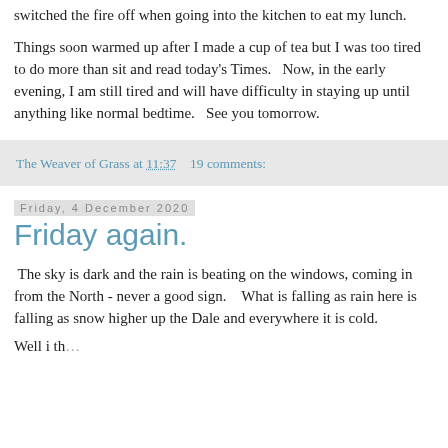switched the fire off when going into the kitchen to eat my lunch.
Things soon warmed up after I made a cup of tea but I was too tired to do more than sit and read today's Times.   Now, in the early evening, I am still tired and will have difficulty in staying up until anything like normal bedtime.   See you tomorrow.
The Weaver of Grass at 11:37    19 comments:
Friday, 4 December 2020
Friday again.
The sky is dark and the rain is beating on the windows, coming in from the North - never a good sign.    What is falling as rain here is falling as snow higher up the Dale and everywhere it is cold.
Well i th...